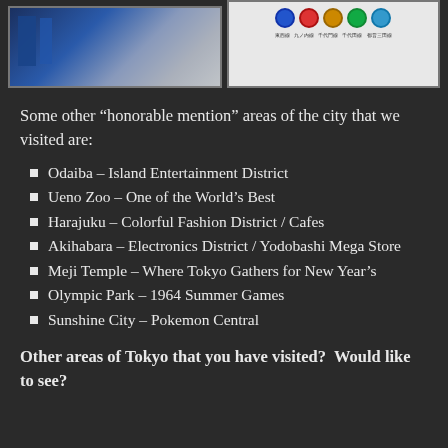[Figure (photo): Two photos at the top: left shows a Tokyo subway/train station platform with blue signage; right shows a Tokyo subway line map/sign with colored circles for different metro lines]
Some other “honorable mention” areas of the city that we visited are:
Odaiba – Island Entertainment District
Ueno Zoo – One of the World’s Best
Harajuku – Colorful Fashion District / Cafes
Akihabara – Electronics District / Yodobashi Mega Store
Meji Temple – Where Tokyo Gathers for New Year’s
Olympic Park – 1964 Summer Games
Sunshine City – Pokemon Central
Other areas of Tokyo that you have visited?  Would like to see?